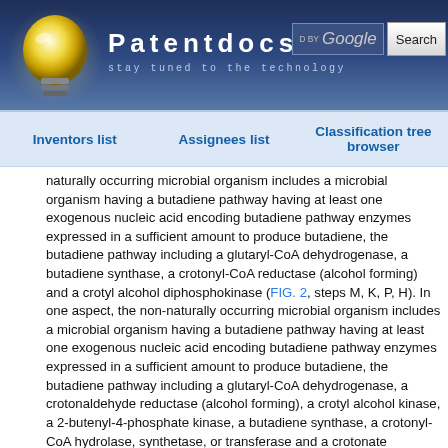Patentdocs — stay tuned to the technology
Inventors list
Assignees list
Classification tree browser
naturally occurring microbial organism includes a microbial organism having a butadiene pathway having at least one exogenous nucleic acid encoding butadiene pathway enzymes expressed in a sufficient amount to produce butadiene, the butadiene pathway including a glutaryl-CoA dehydrogenase, a butadiene synthase, a crotonyl-CoA reductase (alcohol forming) and a crotyl alcohol diphosphokinase (FIG. 2, steps M, K, P, H). In one aspect, the non-naturally occurring microbial organism includes a microbial organism having a butadiene pathway having at least one exogenous nucleic acid encoding butadiene pathway enzymes expressed in a sufficient amount to produce butadiene, the butadiene pathway including a glutaryl-CoA dehydrogenase, a crotonaldehyde reductase (alcohol forming), a crotyl alcohol kinase, a 2-butenyl-4-phosphate kinase, a butadiene synthase, a crotonyl-CoA hydrolase, synthetase, or transferase and a crotonate reductase (FIG. 2, steps M, I, J, E, F, G, H). In one aspect, the non-naturally occurring microbial organism includes a